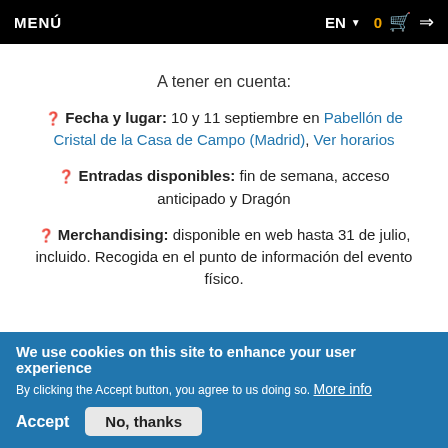MENÚ   EN  0  🛒  →
A tener en cuenta:
✅ Fecha y lugar: 10 y 11 septiembre en Pabellón de Cristal de la Casa de Campo (Madrid), Ver horarios
✅ Entradas disponibles: fin de semana, acceso anticipado y Dragón
✅ Merchandising: disponible en web hasta 31 de julio, incluido. Recogida en el punto de información del evento físico.
We use cookies on this site to enhance your user experience
By clicking the Accept button, you agree to us doing so. More info
Accept   No, thanks